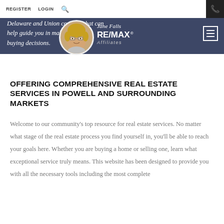REGISTER  LOGIN  🔍
Delaware and Union counties that can help guide you in making the right buying decisions.
[Figure (photo): Circular headshot of a blonde woman agent with glasses, overlaid on the RE/MAX Affiliates logo with Jane Falls signature]
OFFERING COMPREHENSIVE REAL ESTATE SERVICES IN POWELL AND SURROUNDING MARKETS
Welcome to our community's top resource for real estate services. No matter what stage of the real estate process you find yourself in, you'll be able to reach your goals here. Whether you are buying a home or selling one, learn what exceptional service truly means. This website has been designed to provide you with all the necessary tools including the most complete